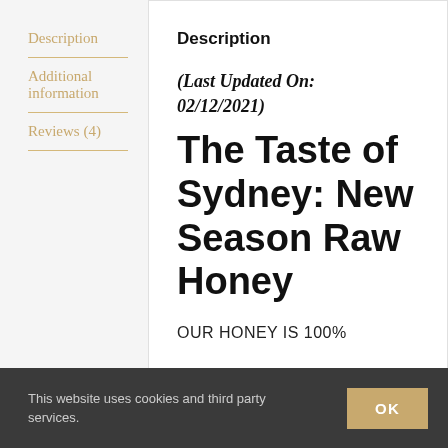Description
Additional information
Reviews (4)
Description
(Last Updated On: 02/12/2021)
The Taste of Sydney: New Season Raw Honey
OUR HONEY IS 100%
This website uses cookies and third party services.